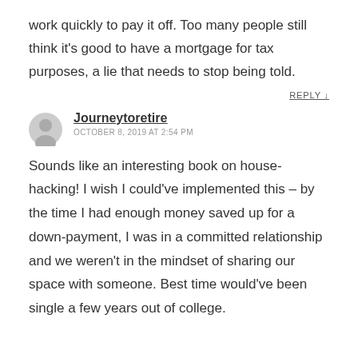work quickly to pay it off. Too many people still think it's good to have a mortgage for tax purposes, a lie that needs to stop being told.
REPLY ↓
Journeytoretire
OCTOBER 8, 2019 AT 2:54 PM
Sounds like an interesting book on house-hacking! I wish I could've implemented this – by the time I had enough money saved up for a down-payment, I was in a committed relationship and we weren't in the mindset of sharing our space with someone. Best time would've been single a few years out of college.